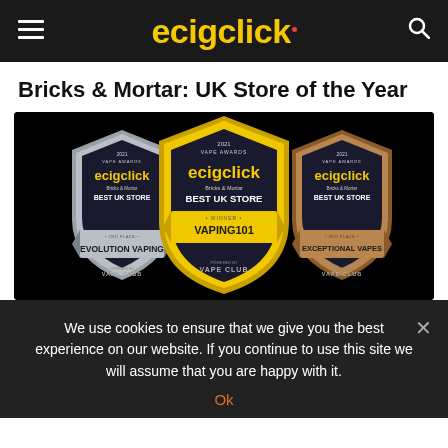ecigclick
Bricks & Mortar: UK Store of the Year
[Figure (illustration): Three award badges on black background: silver badge for Evolution Vaping (2nd place), gold/yellow badge for Vaping101 (Winner - Best UK Store), and bronze badge for Exceptional Vapes (3rd place). All branded with ecigclick and Vape Club logos. 2021 Vape Awards - Bricks & Mortar Best UK Store.]
We use cookies to ensure that we give you the best experience on our website. If you continue to use this site we will assume that you are happy with it.
Ok